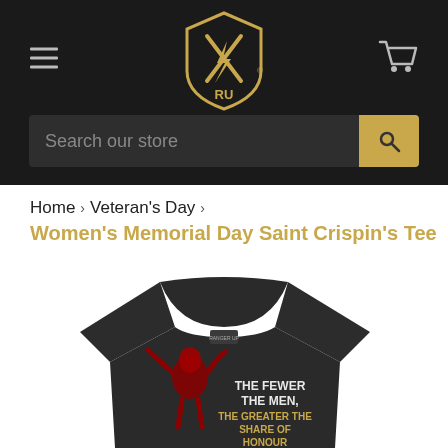[Figure (screenshot): Dark navigation bar with hamburger menu icon on left, gold shield logo with crossed tools and 'RU' text in center, cart icon on right, and a search bar below reading 'Search our store']
Home › Veteran's Day ›
Women's Memorial Day Saint Crispin's Tee
[Figure (photo): Black women's t-shirt with red graphic design of a figure and text reading 'THE FEWER THE MEN, THE GREATER THE SHARE OF HONOUR']